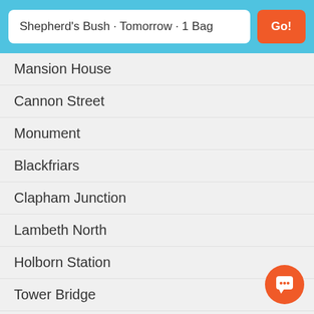Shepherd's Bush · Tomorrow · 1 Bag
Mansion House
Cannon Street
Monument
Blackfriars
Clapham Junction
Lambeth North
Holborn Station
Tower Bridge
Goodge Street Station
St Paul's Cathedral
Westminster Station
Charing Cross Station
Russel Square Station
Tottenham Court Road Station